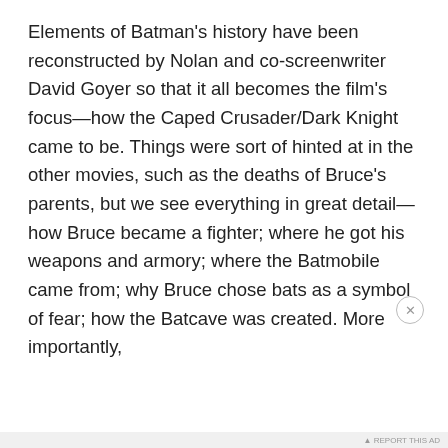Elements of Batman's history have been reconstructed by Nolan and co-screenwriter David Goyer so that it all becomes the film's focus—how the Caped Crusader/Dark Knight came to be. Things were sort of hinted at in the other movies, such as the deaths of Bruce's parents, but we see everything in great detail—how Bruce became a fighter; where he got his weapons and armory; where the Batmobile came from; why Bruce chose bats as a symbol of fear; how the Batcave was created. More importantly,
Privacy & Cookies: This site uses cookies. By continuing to use this website, you agree to their use.
To find out more, including how to control cookies, see here: Cookie Policy
Close and accept